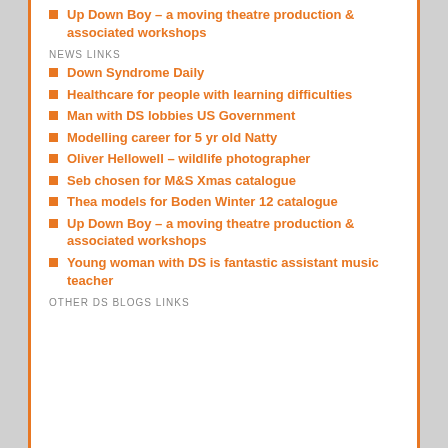Up Down Boy – a moving theatre production & associated workshops
NEWS LINKS
Down Syndrome Daily
Healthcare for people with learning difficulties
Man with DS lobbies US Government
Modelling career for 5 yr old Natty
Oliver Hellowell – wildlife photographer
Seb chosen for M&S Xmas catalogue
Thea models for Boden Winter 12 catalogue
Up Down Boy – a moving theatre production & associated workshops
Young woman with DS is fantastic assistant music teacher
OTHER DS BLOGS LINKS